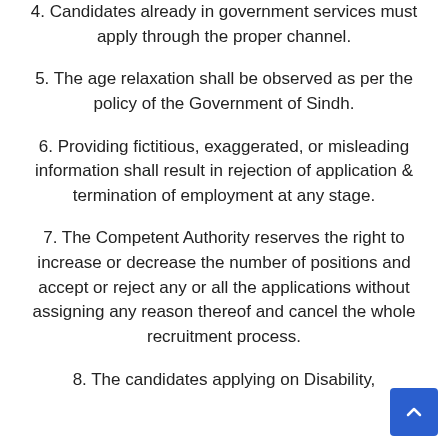4. Candidates already in government services must apply through the proper channel.
5. The age relaxation shall be observed as per the policy of the Government of Sindh.
6. Providing fictitious, exaggerated, or misleading information shall result in rejection of application & termination of employment at any stage.
7. The Competent Authority reserves the right to increase or decrease the number of positions and accept or reject any or all the applications without assigning any reason thereof and cancel the whole recruitment process.
8. The candidates applying on Disability,